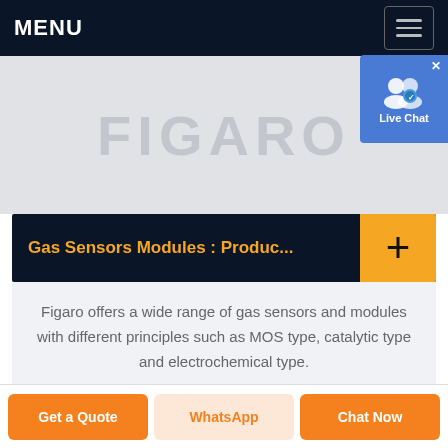MENU
[Figure (screenshot): Hero image area with faded Figaro logo text on light gray background]
Gas Sensors Modules : Produc...
Figaro offers a wide range of gas sensors and modules with different principles such as MOS type, catalytic type and electrochemical type.
Get a Quote | WhatsApp | Chat Now